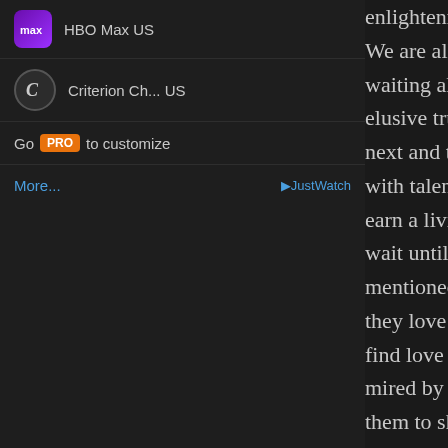HBO Max US
Criterion Ch... US
Go PRO to customize
More... JustWatch
enlightenment of the flightless bi... We are all flightless birds who go... waiting all the while for the inde... elusive true love to elevate us and... next and the highest form of hap... with talents which later become a... earn a living thereby lessening th... wait until the occurrence of the t... mentioned kind think they it is gi... they love and get paid for it but n... find love of their lives, their feelin... mired by their unachieved aspira... them to shower love on that year... way, may never be willing to spe... care for them the way a man who... he does for a living but has stuck